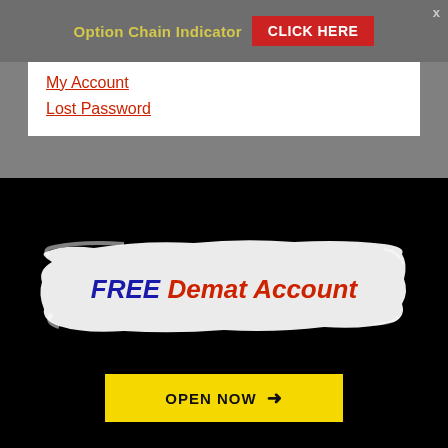Option Chain Indicator  CLICK HERE
My Account
Lost Password
[Figure (infographic): Black background advertisement panel with white brushstroke background containing text 'FREE Demat Account' in bold italic (FREE in blue, Demat Account in red), and a yellow 'OPEN NOW →' button below.]
© 2022 · Nitin Bhatia · All Rights Reserved · Privacy Policy · Google Adsense Privacy Policy · Disclaimer